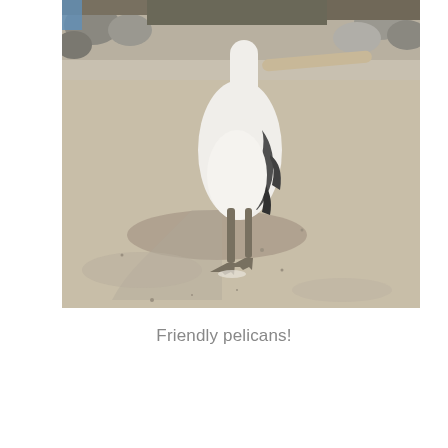[Figure (photo): A white pelican standing on sandy ground with rocks and shrubbery in the background. The bird casts a shadow on the sandy surface. The pelican is viewed from the front, showing its white plumage and dark wing tips, with its beak partially visible at the top.]
Friendly pelicans!